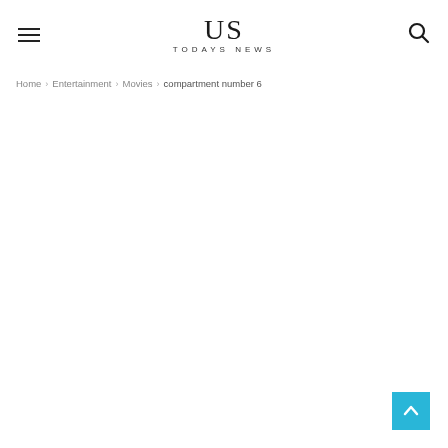US TODAYS NEWS
Home › Entertainment › Movies › compartment number 6